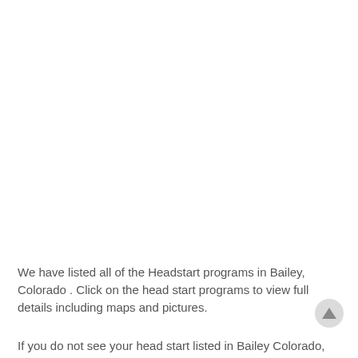We have listed all of the Headstart programs in Bailey, Colorado . Click on the head start programs to view full details including maps and pictures.
If you do not see your head start listed in Bailey Colorado,